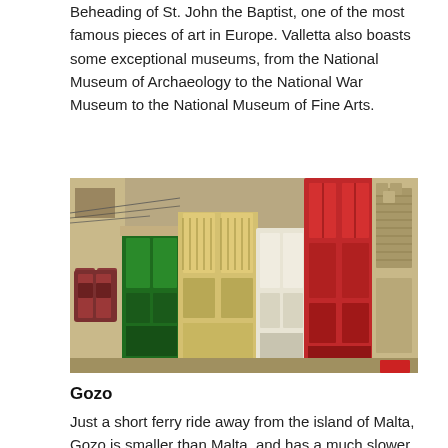Beheading of St. John the Baptist, one of the most famous pieces of art in Europe. Valletta also boasts some exceptional museums, from the National Museum of Archaeology to the National War Museum to the National Museum of Fine Arts.
[Figure (photo): Street view of traditional Maltese colourful enclosed wooden balconies on limestone buildings in Valletta, Malta. Balconies in dark red, green, cream/yellow, red, and weathered stone colours.]
Gozo
Just a short ferry ride away from the island of Malta, Gozo is smaller than Malta, and has a much slower...